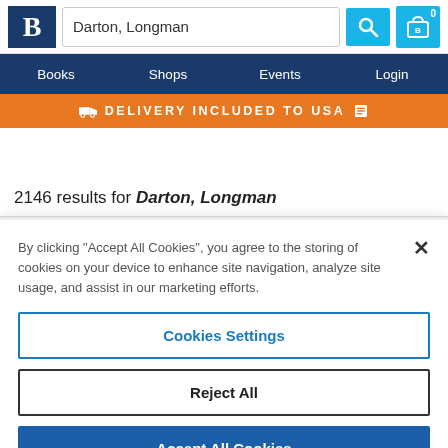Darton, Longman — Bookshop search page header with logo, search bar, and cart
Books | Shops | Events | Login
DELIVERY INCLUDED TO USA
2146 results for Darton, Longman
By clicking “Accept All Cookies”, you agree to the storing of cookies on your device to enhance site navigation, analyze site usage, and assist in our marketing efforts.
Cookies Settings
Reject All
Accept All Cookies